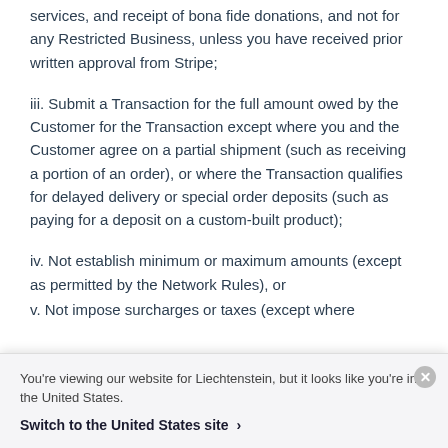services, and receipt of bona fide donations, and not for any Restricted Business, unless you have received prior written approval from Stripe;
iii. Submit a Transaction for the full amount owed by the Customer for the Transaction except where you and the Customer agree on a partial shipment (such as receiving a portion of an order), or where the Transaction qualifies for delayed delivery or special order deposits (such as paying for a deposit on a custom-built product);
iv. Not establish minimum or maximum amounts (except as permitted by the Network Rules), or
You're viewing our website for Liechtenstein, but it looks like you're in the United States.
Switch to the United States site ›
v. Not impose surcharges or taxes (except where